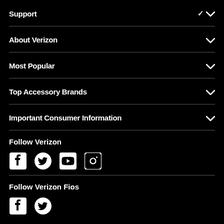Support
About Verizon
Most Popular
Top Accessory Brands
Important Consumer Information
Follow Verizon
[Figure (infographic): Social media icons: Facebook, Twitter, YouTube, Instagram]
Follow Verizon Fios
[Figure (infographic): Social media icons: Facebook, Twitter]